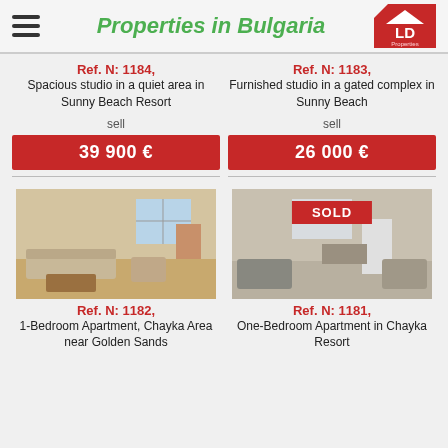Properties in Bulgaria — LD Properties
Ref. N: 1184, Spacious studio in a quiet area in Sunny Beach Resort
Ref. N: 1183, Furnished studio in a gated complex in Sunny Beach
sell 39 900 €
sell 26 000 €
[Figure (photo): Interior photo of a living room with sofa and table in a 1-bedroom apartment]
[Figure (photo): Interior photo of a furnished apartment with SOLD banner overlay]
Ref. N: 1182, 1-Bedroom Apartment, Chayka Area near Golden Sands
Ref. N: 1181, One-Bedroom Apartment in Chayka Resort